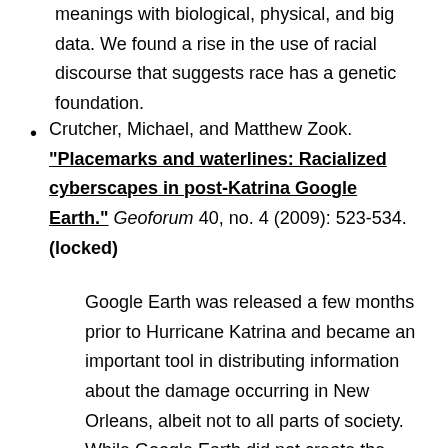meanings with biological, physical, and big data. We found a rise in the use of racial discourse that suggests race has a genetic foundation.
Crutcher, Michael, and Matthew Zook. "Placemarks and waterlines: Racialized cyberscapes in post-Katrina Google Earth." Geoforum 40, no. 4 (2009): 523-534. (locked)
Google Earth was released a few months prior to Hurricane Katrina and became an important tool in distributing information about the damage occurring in New Orleans, albeit not to all parts of society. While Google Earth did not create the economic and racial divides present in society, its use in the post-Katrina context reflect this gulf and have arguably reinforced and recreated it online. This paper has three main objectives. The first is to provide a clear